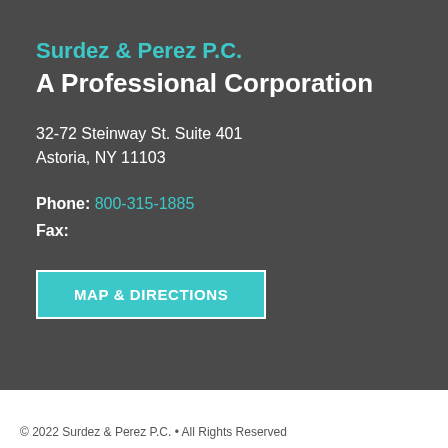Surdez & Perez P.C.
A Professional Corporation
32-72 Steinway St. Suite 401
Astoria, NY 11103
Phone: 800-315-1885
Fax:
MAP & DIRECTIONS
© 2022 Surdez & Perez P.C. • All Rights Reserved